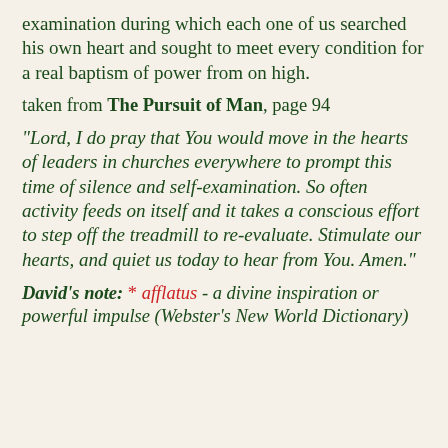examination during which each one of us searched his own heart and sought to meet every condition for a real baptism of power from on high.
taken from The Pursuit of Man, page 94
"Lord, I do pray that You would move in the hearts of leaders in churches everywhere to prompt this time of silence and self-examination. So often activity feeds on itself and it takes a conscious effort to step off the treadmill to re-evaluate. Stimulate our hearts, and quiet us today to hear from You. Amen."
David's note: * afflatus - a divine inspiration or powerful impulse (Webster's New World Dictionary)